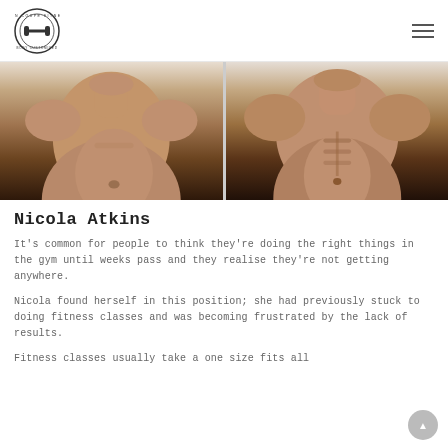Lion Coupe Fitness logo and navigation menu
[Figure (photo): Two side-by-side before and after fitness transformation photos of a male subject showing torso. Left image shows before state, right image shows after state with more visible muscle definition.]
Nicola Atkins
It's common for people to think they're doing the right things in the gym until weeks pass and they realise they're not getting anywhere.
Nicola found herself in this position; she had previously stuck to doing fitness classes and was becoming frustrated by the lack of results.
Fitness classes usually take a one size fits all